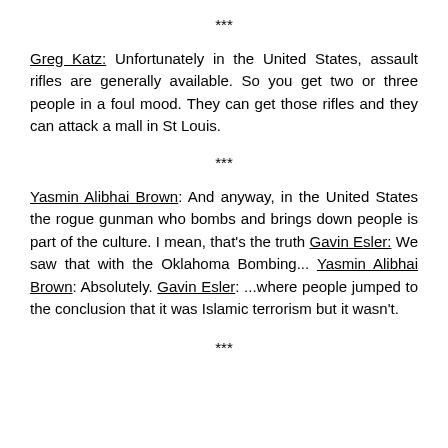***
Greg Katz: Unfortunately in the United States, assault rifles are generally available. So you get two or three people in a foul mood. They can get those rifles and they can attack a mall in St Louis.
***
Yasmin Alibhai Brown: And anyway, in the United States the rogue gunman who bombs and brings down people is part of the culture. I mean, that's the truth
Gavin Esler: We saw that with the Oklahoma Bombing...
Yasmin Alibhai Brown: Absolutely.
Gavin Esler: ...where people jumped to the conclusion that it was Islamic terrorism but it wasn't.
***